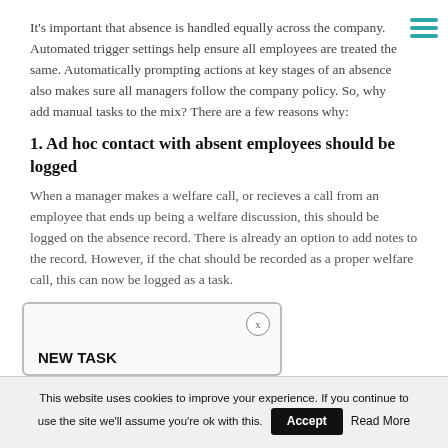It's important that absence is handled equally across the company. Automated trigger settings help ensure all employees are treated the same. Automatically prompting actions at key stages of an absence also makes sure all managers follow the company policy. So, why add manual tasks to the mix? There are a few reasons why:
1. Ad hoc contact with absent employees should be logged
When a manager makes a welfare call, or recieves a call from an employee that ends up being a welfare discussion, this should be logged on the absence record. There is already an option to add notes to the record. However, if the chat should be recorded as a proper welfare call, this can now be logged as a task.
[Figure (screenshot): Screenshot of a 'NEW TASK' dialog box with a close (x) button in the top right corner.]
This website uses cookies to improve your experience. If you continue to use the site we'll assume you're ok with this. Accept  Read More